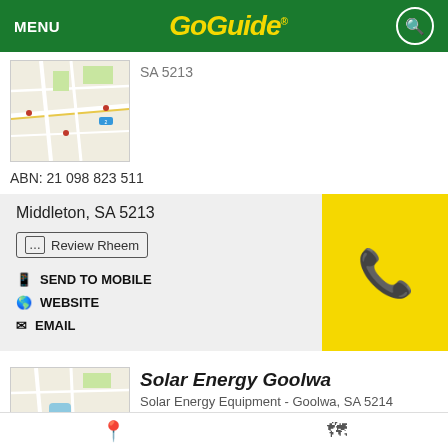MENU | GoGuide
[Figure (map): Street map thumbnail showing local area]
SA 5213
ABN: 21 098 823 511
Middleton, SA 5213
Review Rheem
SEND TO MOBILE
WEBSITE
EMAIL
[Figure (map): Street map thumbnail showing Goolwa area]
Solar Energy Goolwa
Solar Energy Equipment - Goolwa, SA 5214
Report an issue